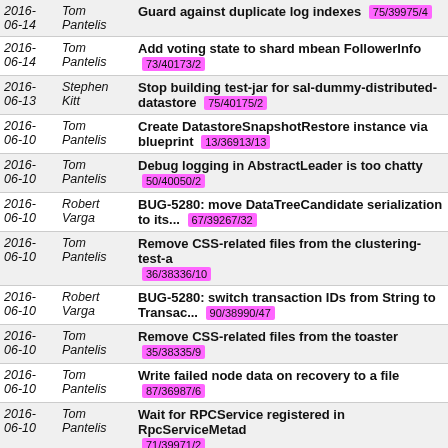| Date | Author | Message |
| --- | --- | --- |
| 2016-06-14 | Tom Pantelis | Guard against duplicate log indexes 75/39975/4 |
| 2016-06-14 | Tom Pantelis | Add voting state to shard mbean FollowerInfo 73/40173/2 |
| 2016-06-13 | Stephen Kitt | Stop building test-jar for sal-dummy-distributed-datastore 75/40175/2 |
| 2016-06-10 | Tom Pantelis | Create DatastoreSnapshotRestore instance via blueprint 13/36913/13 |
| 2016-06-10 | Tom Pantelis | Debug logging in AbstractLeader is too chatty 50/40050/2 |
| 2016-06-10 | Robert Varga | BUG-5280: move DataTreeCandidate serialization to its... 67/39267/32 |
| 2016-06-10 | Tom Pantelis | Remove CSS-related files from the clustering-test-a 36/38336/10 |
| 2016-06-10 | Robert Varga | BUG-5280: switch transaction IDs from String to Transac... 90/38990/47 |
| 2016-06-10 | Tom Pantelis | Remove CSS-related files from the toaster 35/38335/9 |
| 2016-06-10 | Tom Pantelis | Write failed node data on recovery to a file 87/36987/6 |
| 2016-06-10 | Tom Pantelis | Wait for RPCService registered in RpcServiceMetad 71/39971/2 |
| 2016-06-08 | Robert Varga | BUG-5280: do not use CompositeModification in Sh 25/39125/26 |
| 2016-06-08 | Robert Varga | BUG-5280: Remove PeristentMessages 22/39122/28 |
| 2016- | Robert | BUG-5280... |